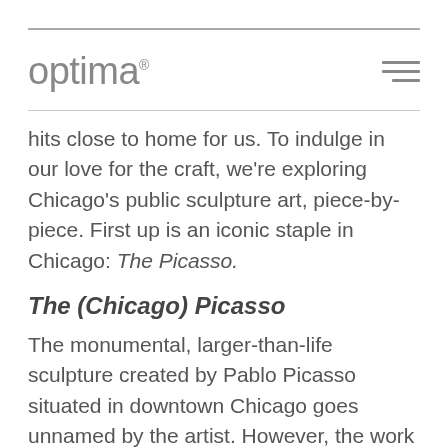optima
hits close to home for us. To indulge in our love for the craft, we're exploring Chicago's public sculpture art, piece-by-piece. First up is an iconic staple in Chicago: The Picasso.
The (Chicago) Picasso
The monumental, larger-than-life sculpture created by Pablo Picasso situated in downtown Chicago goes unnamed by the artist. However, the work is affectionately referred to as The Picasso and even The Chicago Picasso. The sculpture is now a globally-renowned landmark, standing 50 feet tall and